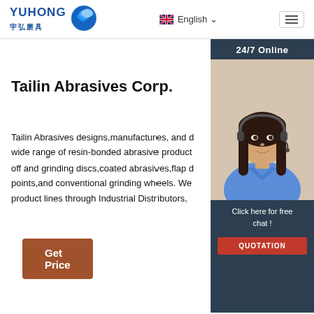YUHONG 宇弘磨具 | English | Navigation
[Figure (photo): Customer service agent woman with headset smiling, with 24/7 Online badge, Click here for free chat text, and QUOTATION button on dark blue sidebar panel]
Tailin Abrasives Corp.
Tailin Abrasives designs,manufactures, and distributes a wide range of resin-bonded abrasive products including cut-off and grinding discs,coated abrasives,flap discs,mounted points,and conventional grinding wheels. We sell our product lines through Industrial Distributors,
[Figure (other): Get Price brown button]
[Figure (other): TOP back-to-top button with red dots icon and TOP text]